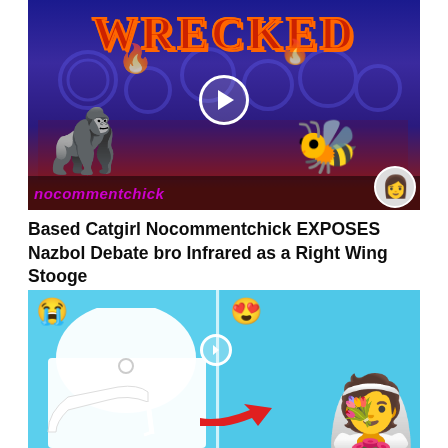[Figure (screenshot): YouTube video thumbnail showing animated gorilla and bee characters on a stage with 'WRECKED' text and 'nocommentchick' branding with a play button]
Based Catgirl Nocommentchick EXPOSES Nazbol Debate bro Infrared as a Right Wing Stooge
[Figure (screenshot): YouTube video thumbnail showing a before/after split image: left side has crying emoji with white high heel shoes and fabric, right side has heart eyes emoji with a bride in white wedding dress holding pink flowers, with a red arrow pointing right]